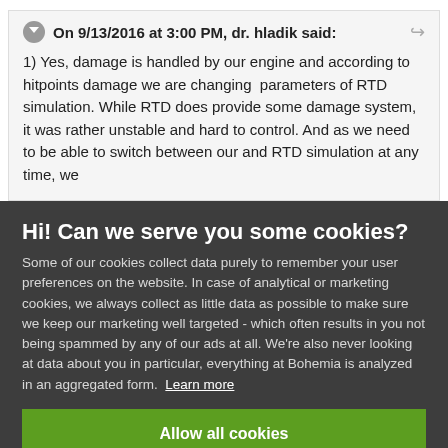On 9/13/2016 at 3:00 PM, dr. hladik said:
1) Yes, damage is handled by our engine and according to hitpoints damage we are changing parameters of RTD simulation. While RTD does provide some damage system, it was rather unstable and hard to control. And as we need to be able to switch between our and RTD simulation at any time, we
Hi! Can we serve you some cookies?
Some of our cookies collect data purely to remember your user preferences on the website. In case of analytical or marketing cookies, we always collect as little data as possible to make sure we keep our marketing well targeted - which often results in you not being spammed by any of our ads at all. We're also never looking at data about you in particular, everything at Bohemia is analyzed in an aggregated form. Learn more
Allow all cookies
I want more options